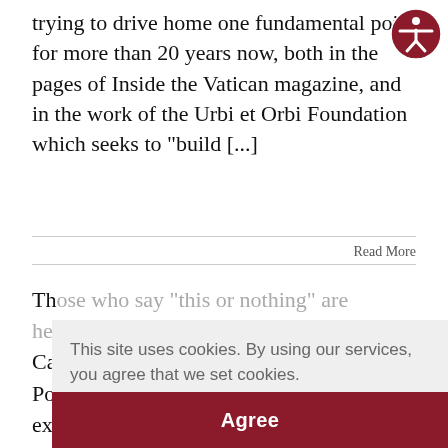trying to drive home one fundamental point for more than 20 years now, both in the pages of Inside the Vatican magazine, and in the work of the Urbi et Orbi Foundation which seeks to "build [...]
Read More
Th... who say "this or nothing" are heretics not Ca... Po... ex... wh... no... morning Mass on Thursday celebrated at the
This site uses cookies. By using our services, you agree that we set cookies.
Learn More
Agree